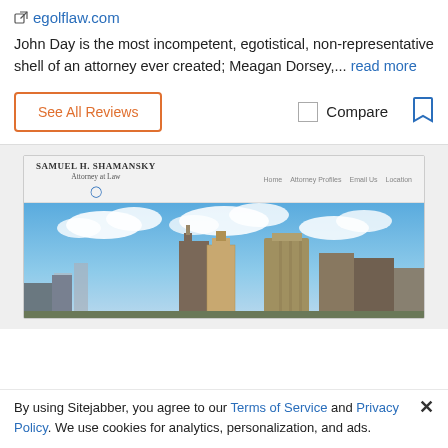egolflaw.com
John Day is the most incompetent, egotistical, non-representative shell of an attorney ever created; Meagan Dorsey,... read more
See All Reviews
Compare
[Figure (screenshot): Screenshot of Samuel H. Shamansky Attorney at Law website showing firm name, navigation links (Home, Attorney Profiles, Email Us, Location), and a city skyline banner photo with blue sky and buildings.]
By using Sitejabber, you agree to our Terms of Service and Privacy Policy. We use cookies for analytics, personalization, and ads.